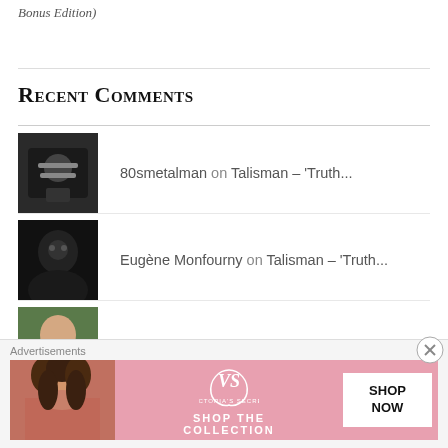Bonus Edition)
Recent Comments
80smetalman on Talisman – ‘Truth...
Eugène Monfourny on Talisman – ‘Truth...
mikeladano on Talisman – ‘Truth...
deKE on Talisman – ‘Truth...
[Figure (photo): Victoria's Secret advertisement banner with model and shop the collection text]